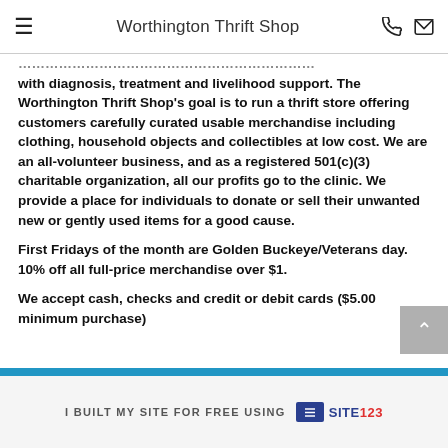Worthington Thrift Shop
with diagnosis, treatment and livelihood support. The Worthington Thrift Shop's goal is to run a thrift store offering customers carefully curated usable merchandise including clothing, household objects and collectibles at low cost.  We are an all-volunteer business, and as a registered 501(c)(3) charitable organization, all our profits go to the clinic. We provide a place for individuals to donate or sell their unwanted new or gently used items for a good cause.

First Fridays of the month are Golden Buckeye/Veterans day. 10% off all full-price merchandise over $1.

We accept cash, checks and credit or debit cards ($5.00 minimum purchase)
I BUILT MY SITE FOR FREE USING   SITE123